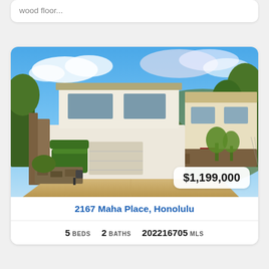wood floor...
[Figure (photo): Exterior photo of a two-story white residential home at 2167 Maha Place, Honolulu, with a wide concrete driveway, green hedges, red stairs, and lush tropical trees in the background under a partly cloudy sky. Price badge shows $1,199,000.]
2167 Maha Place, Honolulu
5 BEDS  2 BATHS  202216705 MLS